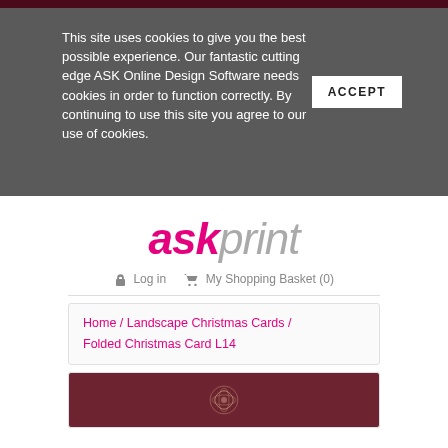This site uses cookies to give you the best possible experience. Our fantastic cutting edge ASK Online Design Software needs cookies in order to function correctly. By continuing to use this site you agree to our use of cookies.
ACCEPT
[Figure (logo): askprint logo with 'ask' in pink/magenta italic bold and 'print' in grey italic light weight]
Log in   My Shopping Basket (0)
Home / Landscape Christmas Cards / Folded Christmas Card L14
[Figure (photo): Dark red/maroon background with decorative gold/cream snowflake or swirl pattern, partial view of a folded Christmas card]